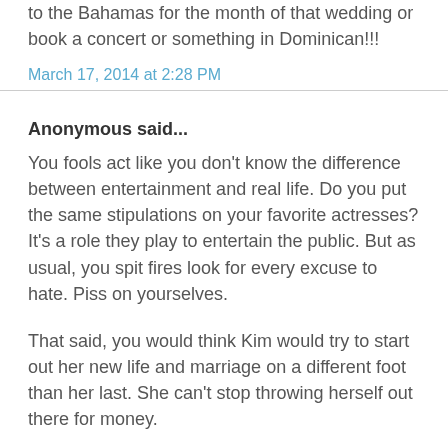to the Bahamas for the month of that wedding or book a concert or something in Dominican!!!
March 17, 2014 at 2:28 PM
Anonymous said...
You fools act like you don't know the difference between entertainment and real life. Do you put the same stipulations on your favorite actresses? It's a role they play to entertain the public. But as usual, you spit fires look for every excuse to hate. Piss on yourselves.
That said, you would think Kim would try to start out her new life and marriage on a different foot than her last. She can't stop throwing herself out there for money.
March 17, 2014 at 3:56 PM
Anonymous said...
@ 3:56 PM so is it entertainment or the real thing that Bey is still 32 yo ? Or this Bitch really understand that